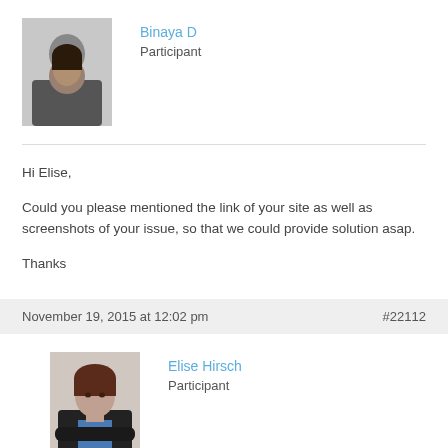Binaya D
Participant
Hi Elise,

Could you please mentioned the link of your site as well as screenshots of your issue, so that we could provide solution asap.

Thanks
November 19, 2015 at 12:02 pm
#22112
Elise Hirsch
Participant
Hi Binaya,

My site is http://www.elise-hirsch.com/. I always had an option at the bottom of each widget to select types of divider. (See attached